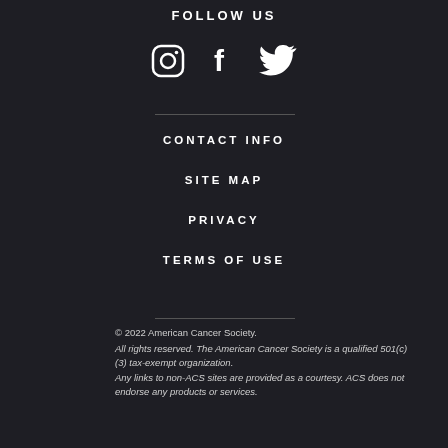FOLLOW US
[Figure (illustration): Social media icons: Instagram, Facebook, Twitter]
CONTACT INFO
SITE MAP
PRIVACY
TERMS OF USE
© 2022 American Cancer Society. All rights reserved. The American Cancer Society is a qualified 501(c)(3) tax-exempt organization. Any links to non-ACS sites are provided as a courtesy. ACS does not endorse any products or services.